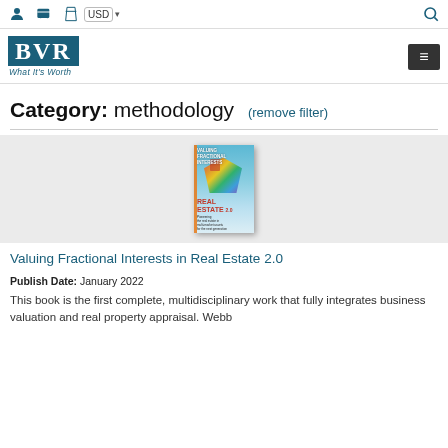USD  [search icon]
[Figure (logo): BVR What It's Worth logo — dark teal box with white BVR letters, italic tagline below]
Category: methodology (remove filter)
[Figure (photo): Book cover of 'Valuing Fractional Interests in Real Estate 2.0' — sky background with floating collage building shape, text overlaid]
Valuing Fractional Interests in Real Estate 2.0
Publish Date: January 2022
This book is the first complete, multidisciplinary work that fully integrates business valuation and real property appraisal. Webb